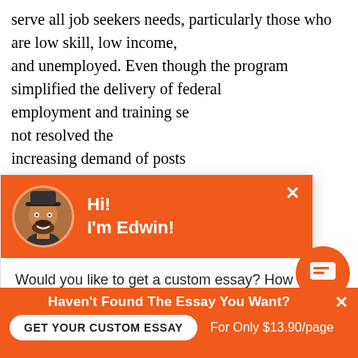serve all job seekers needs, particularly those who are low skill, low income, and unemployed. Even though the program simplified the delivery of federal employment and training se... not resolved the increasing demand of posts... economy nor the complexity of the labor mar... on the short-term crisis instead of... them receive the training and education they need fo... at forty percent of funds are invested in training, and it is unclear how m... credentials this
[Figure (screenshot): Chat popup widget with orange header showing avatar of bearded man and 'Hi! I'm Edwin!' text, body with message 'Would you like to get a custom essay? How about receiving a customized one?' and 'Check it out' link]
[Figure (screenshot): Orange circular chat bubble button in bottom right]
Haven't Found The Essay You Want?
GET YOUR CUSTOM ESSAY   For Only $13.90/page